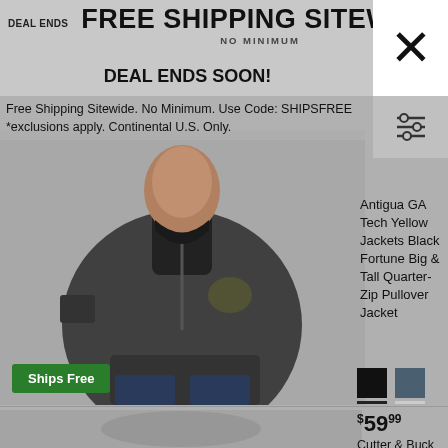FREE SHIPPING SITEWIDE NO MINIMUM
DEAL ENDS SOON!
Free Shipping Sitewide. No Minimum. Use Code: SHIPSFREE *exclusions apply. Continental U.S. Only.
[Figure (photo): Man wearing Antigua GA Tech Yellow Jackets Black Fortune Big & Tall Quarter-Zip Pullover Jacket. Ships Free badge shown.]
Antigua GA Tech Yellow Jackets Black Fortune Big & Tall Quarter-Zip Pullover Jacket
[Figure (other): Two color swatches: black and dark gray/blue]
[Figure (photo): Second product image area (blurred/partial)]
$59.99 Cutter & Buck Georgia Tech Yellow Jackets Gray Big & Tall Victory Fr...